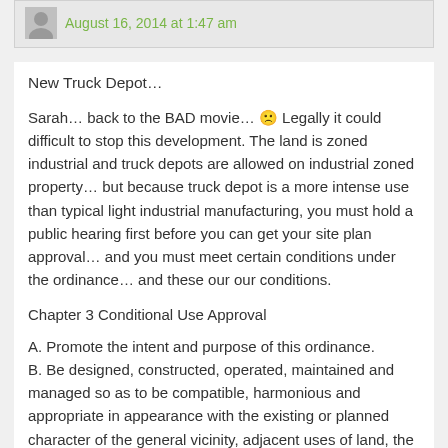August 16, 2014 at 1:47 am
New Truck Depot…
Sarah… back to the BAD movie… 🙁 Legally it could difficult to stop this development. The land is zoned industrial and truck depots are allowed on industrial zoned property… but because truck depot is a more intense use than typical light industrial manufacturing, you must hold a public hearing first before you can get your site plan approval… and you must meet certain conditions under the ordinance… and these our our conditions.
Chapter 3 Conditional Use Approval
A. Promote the intent and purpose of this ordinance.
B. Be designed, constructed, operated, maintained and managed so as to be compatible, harmonious and appropriate in appearance with the existing or planned character of the general vicinity, adjacent uses of land, the natural environment, the capacity of public services and facilities affected by the land use, and the community as a whole.
C. Be served adequately by essential public facilities and services, such as highways, streets, police and fire protection, drainageways, refuse disposal, or that the persons or agencies